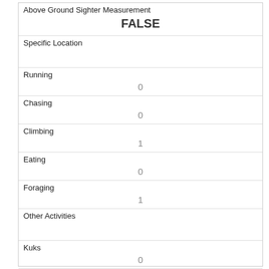| Above Ground Sighter Measurement | FALSE |
| Specific Location |  |
| Running | 0 |
| Chasing | 0 |
| Climbing | 1 |
| Eating | 0 |
| Foraging | 1 |
| Other Activities |  |
| Kuks | 0 |
| Quaas | 0 |